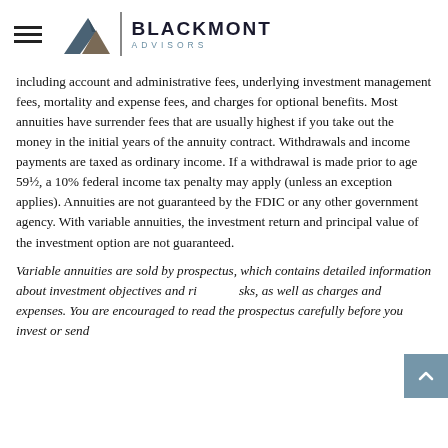Blackmont Advisors logo with hamburger menu
including account and administrative fees, underlying investment management fees, mortality and expense fees, and charges for optional benefits. Most annuities have surrender fees that are usually highest if you take out the money in the initial years of the annuity contract. Withdrawals and income payments are taxed as ordinary income. If a withdrawal is made prior to age 59½, a 10% federal income tax penalty may apply (unless an exception applies). Annuities are not guaranteed by the FDIC or any other government agency. With variable annuities, the investment return and principal value of the investment option are not guaranteed.
Variable annuities are sold by prospectus, which contains detailed information about investment objectives and risks, as well as charges and expenses. You are encouraged to read the prospectus carefully before you invest or send